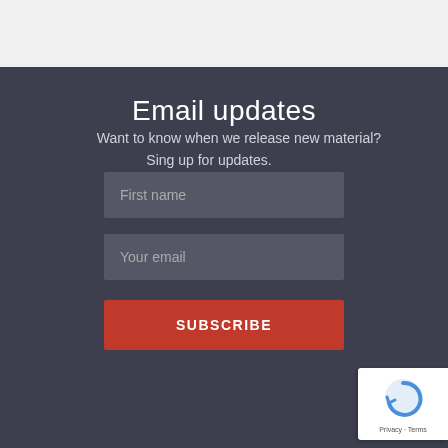Email updates
Want to know when we release new material? Sing up for updates.
[Figure (screenshot): Email subscription form with First name and Your email input fields and a SUBSCRIBE button, on a dark background, with a reCAPTCHA badge in the bottom right corner.]